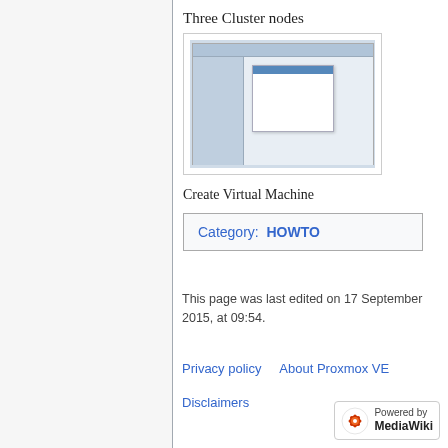Three Cluster nodes
[Figure (screenshot): Screenshot of a Proxmox VE interface showing cluster nodes configuration]
Create Virtual Machine
Category:  HOWTO
This page was last edited on 17 September 2015, at 09:54.
Privacy policy    About Proxmox VE
Disclaimers